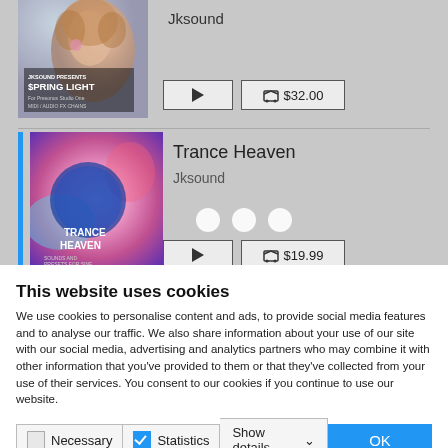[Figure (screenshot): Album art for Spring Light by Jksound - shows a woman with curly hair, warm tones]
Jksound
[Figure (other): Play button and Buy button showing $32.00]
[Figure (screenshot): Album art for Trance Heaven - colorful abstract with blue circle]
Trance Heaven
Jksound
[Figure (other): Play button and Buy button showing $19.99, with three white dots overlay]
This website uses cookies
We use cookies to personalise content and ads, to provide social media features and to analyse our traffic. We also share information about your use of our site with our social media, advertising and analytics partners who may combine it with other information that you've provided to them or that they've collected from your use of their services. You consent to our cookies if you continue to use our website.
Necessary  Statistics  Show details  OK